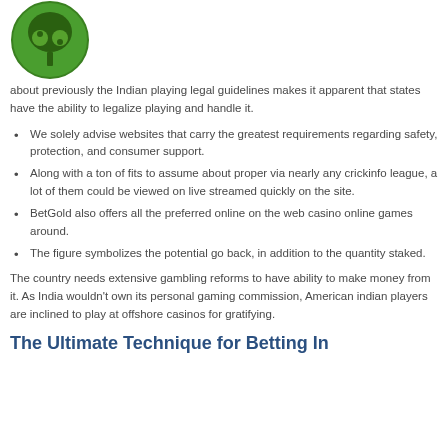[Figure (logo): Green circular logo with a tree design and two yin-yang style leaves]
about previously the Indian playing legal guidelines makes it apparent that states have the ability to legalize playing and handle it.
We solely advise websites that carry the greatest requirements regarding safety, protection, and consumer support.
Along with a ton of fits to assume about proper via nearly any crickinfo league, a lot of them could be viewed on live streamed quickly on the site.
BetGold also offers all the preferred online on the web casino online games around.
The figure symbolizes the potential go back, in addition to the quantity staked.
The country needs extensive gambling reforms to have ability to make money from it. As India wouldn't own its personal gaming commission, American indian players are inclined to play at offshore casinos for gratifying.
The Ultimate Technique for Betting In